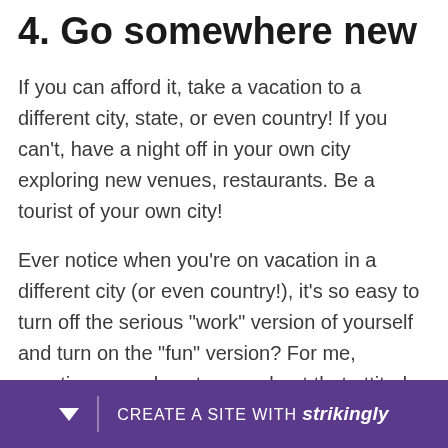4. Go somewhere new
If you can afford it, take a vacation to a different city, state, or even country! If you can't, have a night off in your own city exploring new venues, restaurants. Be a tourist of your own city!
Ever notice when you're on vacation in a different city (or even country!), it's so easy to turn off the serious "work" version of yourself and turn on the "fun" version? For me, vacations are almost more about that attitude shift than the actual location itself!
CREATE A SITE WITH strikingly